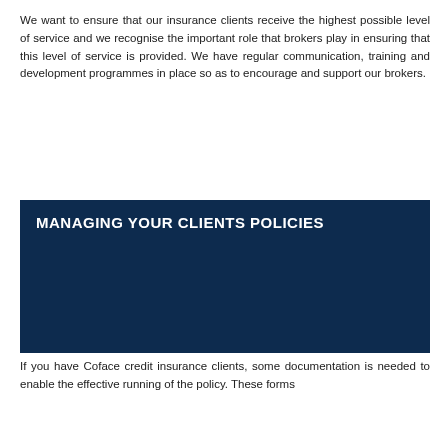We want to ensure that our insurance clients receive the highest possible level of service and we recognise the important role that brokers play in ensuring that this level of service is provided. We have regular communication, training and development programmes in place so as to encourage and support our brokers.
MANAGING YOUR CLIENTS POLICIES
If you have Coface credit insurance clients, some documentation is needed to enable the effective running of the policy. These forms